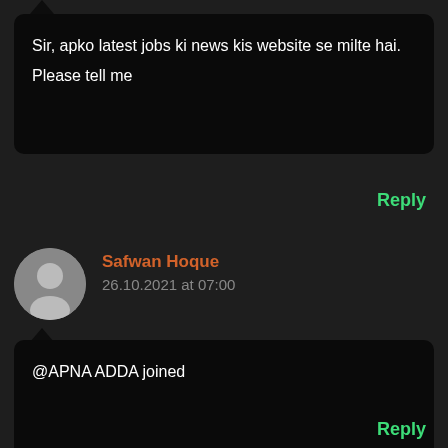Sir, apko latest jobs ki news kis website se milte hai. Please tell me
Reply
Safwan Hoque
26.10.2021 at 07:00
@APNA ADDA joined
Reply